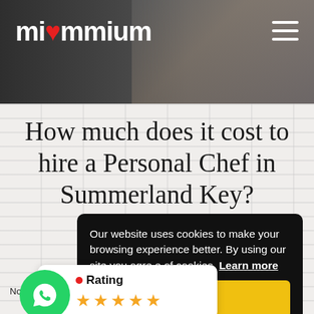[Figure (screenshot): Website header with miommium logo in white text on dark hero image background with chefs, and hamburger menu icon top right]
How much does it cost to hire a Personal Chef in Summerland Key?
No matter... (partially obscured by cookie banner overlay)
[Figure (screenshot): Cookie consent banner: 'Our website uses cookies to make your browsing experience better. By using our site [you agree to the use of cookies]. Learn more' with a yellow 'Yes' button]
[Figure (infographic): Rating card with 5 gold stars and a WhatsApp green circle icon on the left]